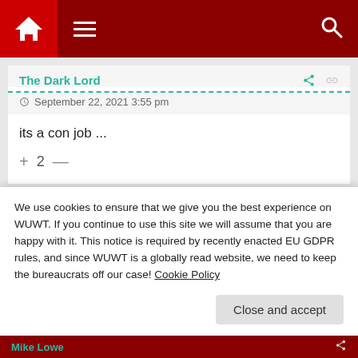[Figure (screenshot): Navigation bar with home icon, hamburger menu, and search icon on dark red background]
The Dark Lord
September 22, 2021 3:55 pm
its a con job ...
+ 2 —
Thomas Gasloli
We use cookies to ensure that we give you the best experience on WUWT. If you continue to use this site we will assume that you are happy with it. This notice is required by recently enacted EU GDPR rules, and since WUWT is a globally read website, we need to keep the bureaucrats off our case! Cookie Policy
Close and accept
Mike Lowe